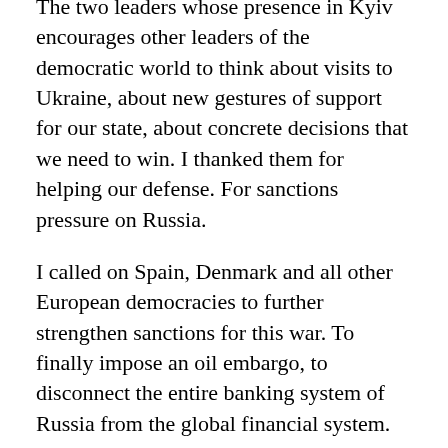The two leaders whose presence in Kyiv encourages other leaders of the democratic world to think about visits to Ukraine, about new gestures of support for our state, about concrete decisions that we need to win. I thanked them for helping our defense. For sanctions pressure on Russia.
I called on Spain, Denmark and all other European democracies to further strengthen sanctions for this war. To finally impose an oil embargo, to disconnect the entire banking system of Russia from the global financial system.
And to help us bring to justice all those guilty of war crimes against Ukrainians.
The Prime Minister of Denmark stated readiness to support the program of post-war reconstruction of Ukraine, in particular the reconstruction and development of Mykolaiv and the shipbuilding industry of Ukraine.